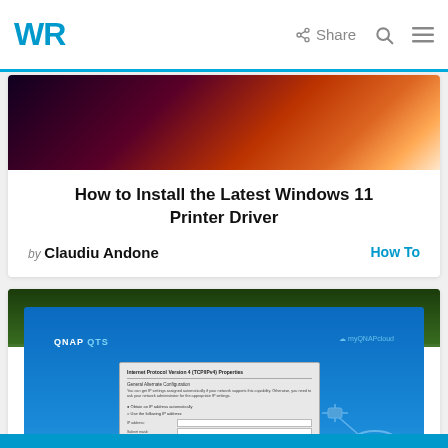WR | Share
[Figure (screenshot): Abstract dark gradient banner image with purple and orange tones]
How to Install the Latest Windows 11 Printer Driver
by Claudiu Andone   How To
[Figure (screenshot): QNAP QTS interface showing an Internet Protocol Version 4 Properties dialog box, with trees and grass in background]